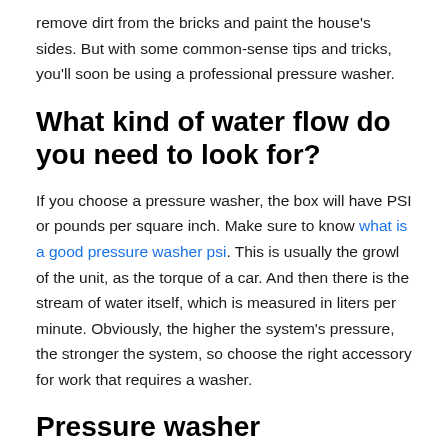remove dirt from the bricks and paint the house's sides. But with some common-sense tips and tricks, you'll soon be using a professional pressure washer.
What kind of water flow do you need to look for?
If you choose a pressure washer, the box will have PSI or pounds per square inch. Make sure to know what is a good pressure washer psi. This is usually the growl of the unit, as the torque of a car. And then there is the stream of water itself, which is measured in liters per minute. Obviously, the higher the system's pressure, the stronger the system, so choose the right accessory for work that requires a washer.
Pressure washer